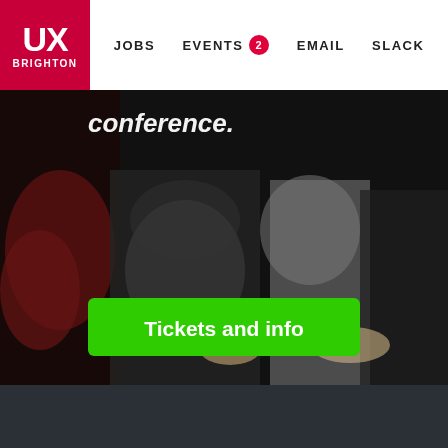UX Brighton | JOBS | EVENTS 2 | EMAIL | SLACK
[Figure (photo): Dark audience photo at a conference with people seated, overlaid with partial text 'conference.' and a green 'Tickets and info' button]
Sign up for updates
Email address | Subscribe